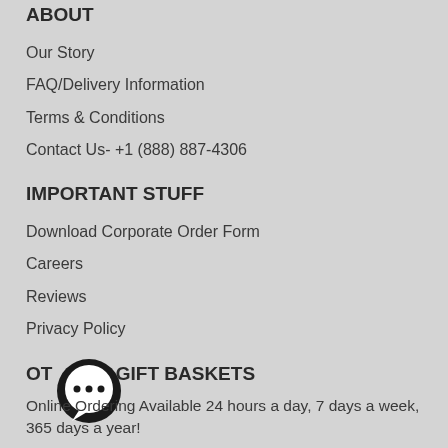ABOUT
Our Story
FAQ/Delivery Information
Terms & Conditions
Contact Us- +1 (888) 887-4306
IMPORTANT STUFF
Download Corporate Order Form
Careers
Reviews
Privacy Policy
OT… GIFT BASKETS
Online Ordering Available 24 hours a day, 7 days a week, 365 days a year!